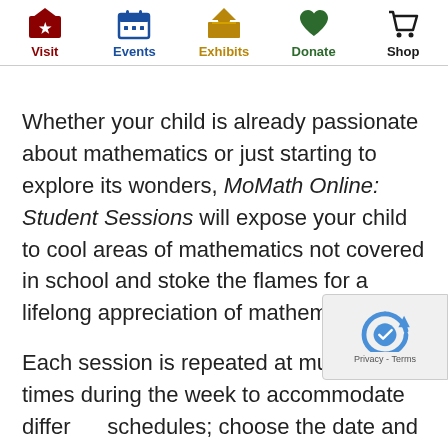Visit | Events | Exhibits | Donate | Shop
Whether your child is already passionate about mathematics or just starting to explore its wonders, MoMath Online: Student Sessions will expose your child to cool areas of mathematics not covered in school and stoke the flames for a lifelong appreciation of mathematics.
Each session is repeated at multiple times during the week to accommodate different schedules; choose the date and time that